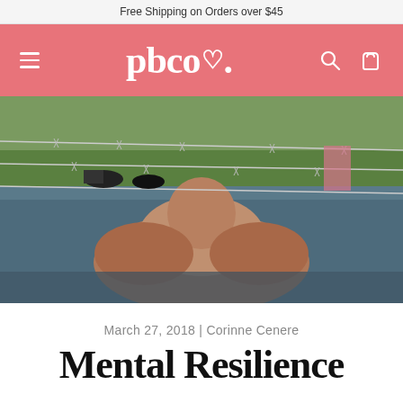Free Shipping on Orders over $45
[Figure (logo): pbco. logo in white text on salmon/pink navigation bar with hamburger menu icon on left and search and cart icons on right]
[Figure (photo): Muscular man crawling under barbed wire through water/mud during an obstacle course race, with spectators visible in background on grass]
March 27, 2018 | Corinne Cenere
Mental Resilience